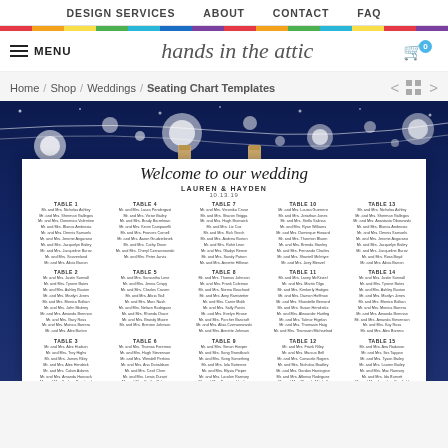DESIGN SERVICES   ABOUT   CONTACT   FAQ
[Figure (other): Rainbow color bar strip across the top of the page]
[Figure (logo): hands in the attic logo with menu icon and shopping cart with badge showing 0]
Home / Shop / Weddings / Seating Chart Templates
[Figure (photo): Wedding seating chart template product image showing a white paper with 'Welcome to our wedding' script title, Lauren & Hayden, 10.13.19, with 15 tables of guest names listed in a 5-column grid, displayed on a blue night sky background with string lights and bokeh light effects]